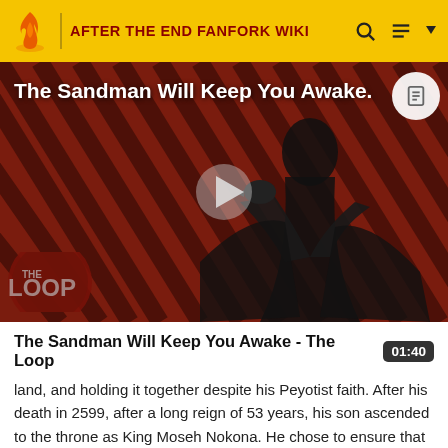AFTER THE END FANFORK WIKI
[Figure (screenshot): Video thumbnail for 'The Sandman Will Keep You Awake - The Loop' showing a dark-robed figure against a red diagonal striped background with 'THE LOOP' text overlay and a play button]
The Sandman Will Keep You Awake - The Loop
land, and holding it together despite his Peyotist faith. After his death in 2599, after a long reign of 53 years, his son ascended to the throne as King Moseh Nokona. He chose to ensure that some...